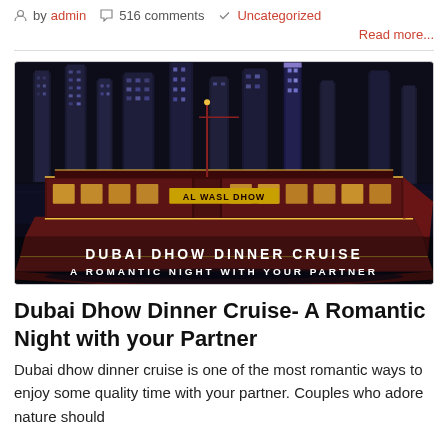by admin  516 comments  Uncategorized  Read more...
[Figure (photo): Night photo of Al Wasl Dhow boat on water with Dubai Marina skyscrapers lit up in background. Text overlay at bottom reads: DUBAI DHOW DINNER CRUISE / A ROMANTIC NIGHT WITH YOUR PARTNER]
Dubai Dhow Dinner Cruise- A Romantic Night with your Partner
Dubai dhow dinner cruise is one of the most romantic ways to enjoy some quality time with your partner. Couples who adore nature should